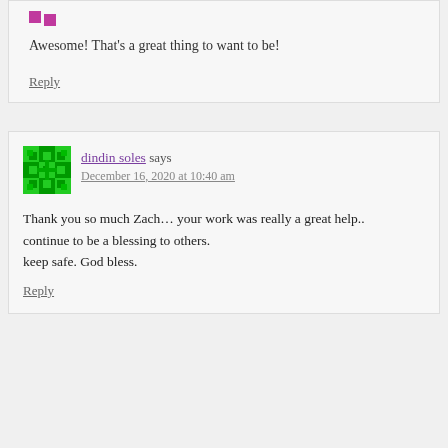Awesome! That's a great thing to want to be!
Reply
dindin soles says
December 16, 2020 at 10:40 am
Thank you so much Zach… your work was really a great help..
continue to be a blessing to others.
keep safe. God bless.
Reply